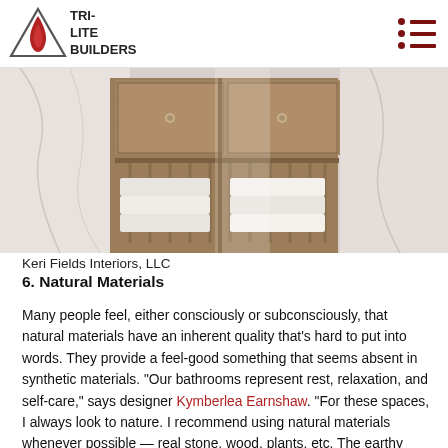TRI-LITE BUILDERS
[Figure (photo): Bathroom vanity with wooden drawers and shelves holding folded white towels, marble tile walls in background]
Keri Fields Interiors, LLC
6. Natural Materials
Many people feel, either consciously or subconsciously, that natural materials have an inherent quality that's hard to put into words. They provide a feel-good something that seems absent in synthetic materials. "Our bathrooms represent rest, relaxation, and self-care," says designer Kymberlea Earnshaw. "For these spaces, I always look to nature. I recommend using natural materials whenever possible — real stone, wood, plants, etc. The earthy elements balance out the water element, and together they create that spa-like feel that is so nourishing for our